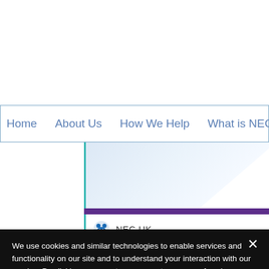Home | About Us | How We Help | What is NEC
[Figure (screenshot): Website hero section with light blue angled background shape, teal vertical line, purple horizontal bar, and NEC UK label with icon]
NEC UK
We use cookies and similar technologies to enable services and functionality on our site and to understand your interaction with our service. By clicking on accept, you agree to our use of such technologies for marketing and analytics. See Privacy Policy
Cookie Settings
Accept